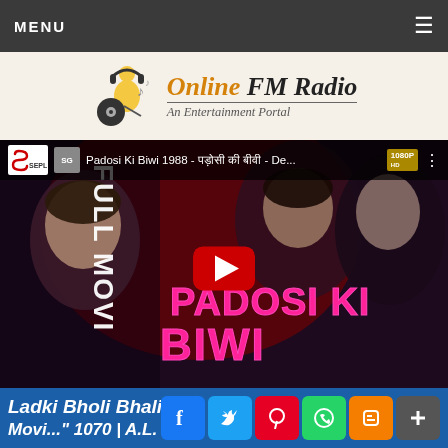MENU
[Figure (logo): Online FM Radio - An Entertainment Portal logo with DJ/music icon]
[Figure (screenshot): YouTube video thumbnail for 'Padosi Ki Biwi 1988 - पड़ोसी की बीवी - De...' showing movie poster with actors and PADOSI KI BIWI text, with red play button. FULL MOVIE text on left side. 1080P HD badge top right. SEPL logo top left.]
Ladki Bholi Bhali "
[Figure (infographic): Social share buttons: Facebook, Twitter, Pinterest, WhatsApp, Blogger, Plus]